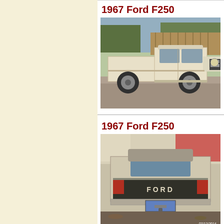1967 Ford F250
[Figure (photo): Front three-quarter view of a cream/white 1967 Ford F250 pickup truck parked in a driveway with wooden fence and trees in background]
1967 Ford F250
[Figure (photo): Rear view of a 1967 Ford F250 pickup truck showing the tailgate with Ford lettering and a blue license plate, dated 07/12/2014]